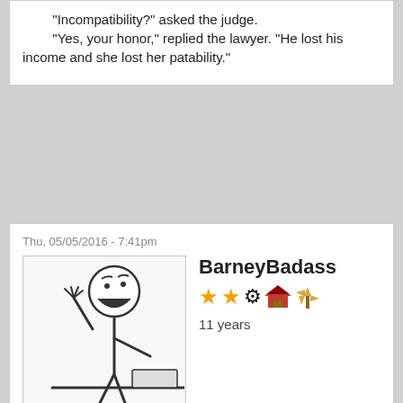"Incompatibility?" asked the judge.
"Yes, your honor," replied the lawyer. "He lost his income and she lost her patability."
Thu, 05/05/2016 - 7:41pm
[Figure (illustration): Avatar image showing a stick figure cartoon character raising hand and yelling, at a desk]
BarneyBadass
★★ [icons] 11 years
I Followed It All The Way To
Gush wrote:
patability
The last word... Which I can't seem to sort out.....
--